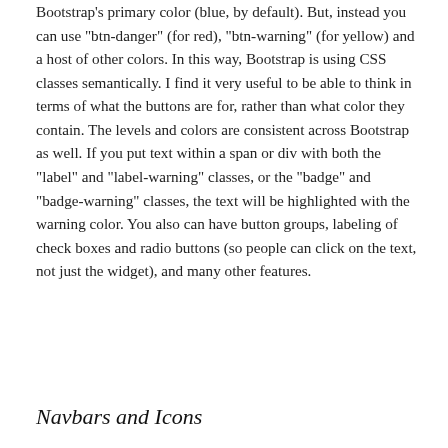Bootstrap's primary color (blue, by default). But, instead you can use "btn-danger" (for red), "btn-warning" (for yellow) and a host of other colors. In this way, Bootstrap is using CSS classes semantically. I find it very useful to be able to think in terms of what the buttons are for, rather than what color they contain. The levels and colors are consistent across Bootstrap as well. If you put text within a span or div with both the "label" and "label-warning" classes, or the "badge" and "badge-warning" classes, the text will be highlighted with the warning color. You also can have button groups, labeling of check boxes and radio buttons (so people can click on the text, not just the widget), and many other features.
Navbars and Icons